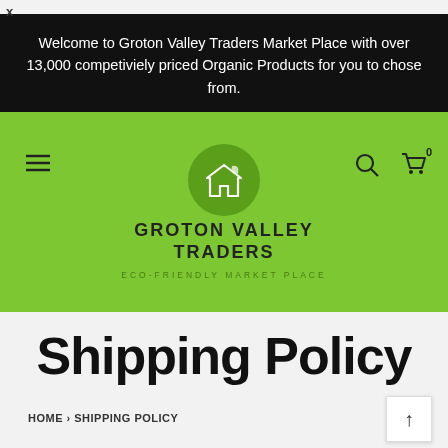x
Welcome to Groton Valley Traders Market Place with over 13,000 competiviely priced Organic Products for you to chose from.
[Figure (logo): Groton Valley Traders logo: green circle with white house/store icon, brand name GROTON VALLEY TRADERS, tagline ECO-FRIENDLY MARKET PLACE on green background with hamburger menu, search, and cart icons]
Shipping Policy
HOME › SHIPPING POLICY